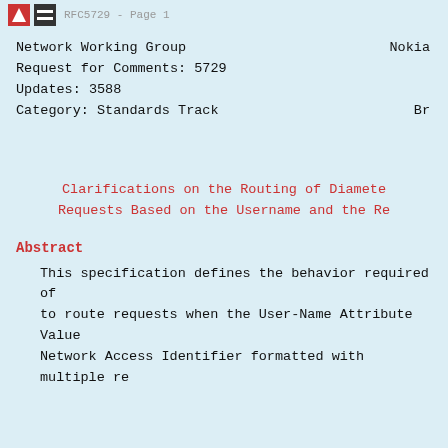RFC5729 - Page 1
Network Working Group
Request for Comments: 5729
Updates: 3588
Category: Standards Track
Nokia
Br
Clarifications on the Routing of Diameter Requests Based on the Username and the Re
Abstract
This specification defines the behavior required of to route requests when the User-Name Attribute Value Network Access Identifier formatted with multiple re